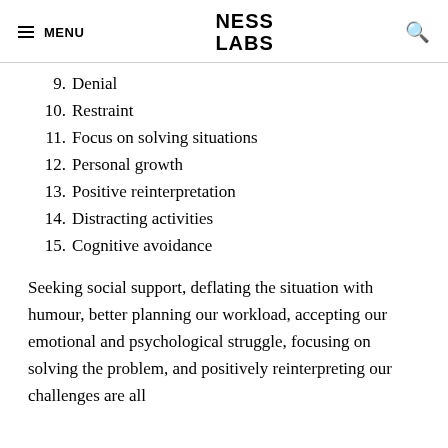MENU | NESS LABS | (search icon)
9. Denial
10. Restraint
11. Focus on solving situations
12. Personal growth
13. Positive reinterpretation
14. Distracting activities
15. Cognitive avoidance
Seeking social support, deflating the situation with humour, better planning our workload, accepting our emotional and psychological struggle, focusing on solving the problem, and positively reinterpreting our challenges are all